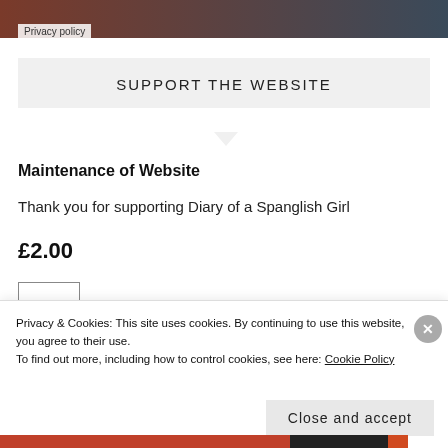[Figure (photo): Blurred banner image at top of page with gradient from brown-red to dark teal]
Privacy policy
SUPPORT THE WEBSITE
Maintenance of Website
Thank you for supporting Diary of a Spanglish Girl
£2.00
Privacy & Cookies: This site uses cookies. By continuing to use this website, you agree to their use.
To find out more, including how to control cookies, see here: Cookie Policy
Close and accept